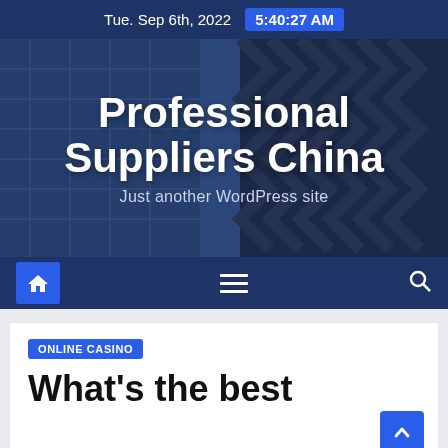Tue. Sep 6th, 2022  5:40:27 AM
[Figure (photo): Aerial/low-angle photograph of modern glass skyscrapers with blue-tinted glass facades]
Professional Suppliers China
Just another WordPress site
[Figure (infographic): Navigation bar with home icon, hamburger menu, and search icon on dark blue background]
ONLINE CASINO
What's the best